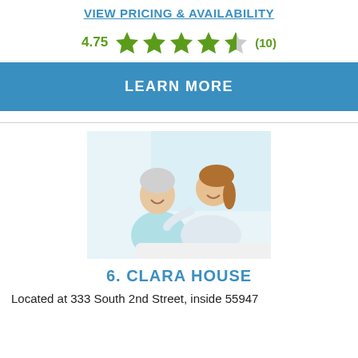VIEW PRICING & AVAILABILITY
4.75 ★★★★½ (10)
LEARN MORE
[Figure (photo): An elderly woman smiling while a younger caregiver smiles and places a hand on her shoulder, both in a bright indoor setting.]
6. CLARA HOUSE
Located at 333 South 2nd Street, inside 55947